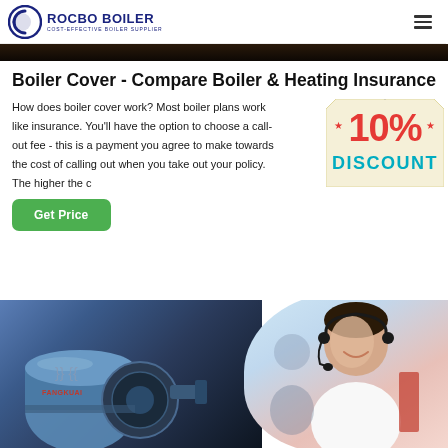[Figure (logo): Rocbo Boiler logo with circular icon and text 'ROCBO BOILER - COST-EFFECTIVE BOILER SUPPLIER']
[Figure (photo): Dark industrial image bar at top of page content area]
Boiler Cover - Compare Boiler & Heating Insurance
How does boiler cover work? Most boiler plans work like insurance. You'll have the option to choose a call-out fee - this is a payment you agree to make towards the cost of calling out when you take out your policy. The higher the c...
[Figure (infographic): 10% DISCOUNT badge/sticker in red and teal colors on a cream background]
[Figure (photo): Get Price green button]
[Figure (photo): Industrial boiler machinery (blue/dark) on the left and a female customer service agent with headset on the right]